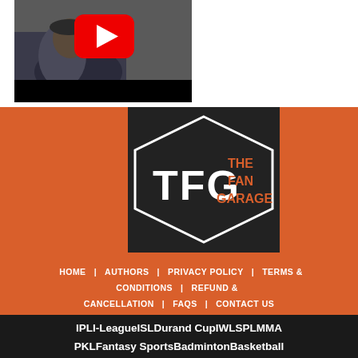[Figure (screenshot): YouTube video thumbnail showing a person sitting with arms crossed, with a YouTube play button overlay]
[Figure (logo): The Fan Garage (TFG) logo - hexagon shape with TFG letters and 'THE FAN GARAGE' text on orange background]
HOME   AUTHORS   PRIVACY POLICY   TERMS & CONDITIONS   REFUND & CANCELLATION   FAQs   CONTACT US
IPL   I-League   ISL   Durand Cup   IWL   SPL   MMA   PKL   Fantasy Sports   Badminton   Basketball   Boxing   Cricket   Hockey   Indian Football   Kabaddi   Other Sports   Reviews